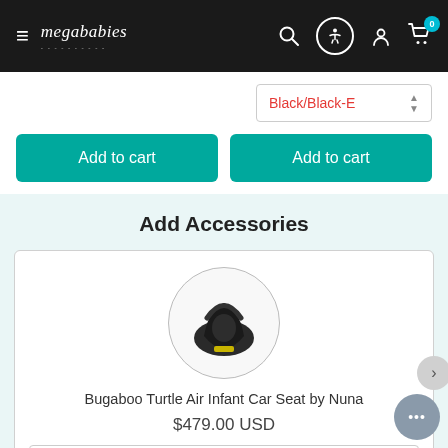megababies — navigation bar with hamburger menu, search, accessibility, account, and cart icons
Black/Black-E (color selector dropdown)
Add to cart | Add to cart
Add Accessories
[Figure (photo): Bugaboo Turtle Air Infant Car Seat by Nuna shown in a circular frame — dark/black colored infant car seat with carry handle]
Bugaboo Turtle Air Infant Car Seat by Nuna
$479.00 USD
Black (color dropdown)